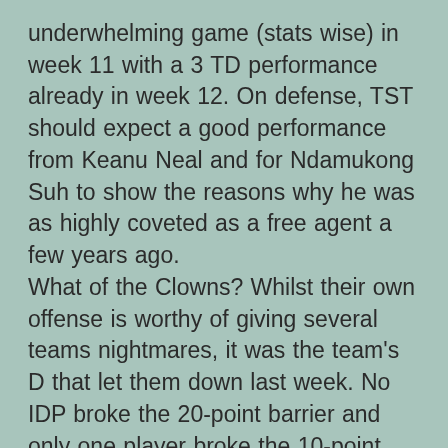underwhelming game (stats wise) in week 11 with a 3 TD performance already in week 12. On defense, TST should expect a good performance from Keanu Neal and for Ndamukong Suh to show the reasons why he was as highly coveted as a free agent a few years ago. What of the Clowns? Whilst their own offense is worthy of giving several teams nightmares, it was the team's D that let them down last week. No IDP broke the 20-point barrier and only one player broke the 10-point mark, Eric Reid, and after tearing his biceps, is done for the season.